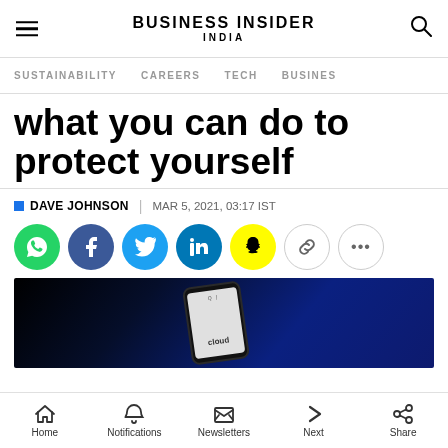BUSINESS INSIDER INDIA
SUSTAINABILITY | CAREERS | TECH | BUSINESS
what you can do to protect yourself
DAVE JOHNSON | MAR 5, 2021, 03:17 IST
[Figure (other): Social sharing buttons: WhatsApp, Facebook, Twitter, LinkedIn, Snapchat, Copy Link, More]
[Figure (photo): Smartphone with screen visible against dark blue background, showing a cloud-related app or website]
Home | Notifications | Newsletters | Next | Share